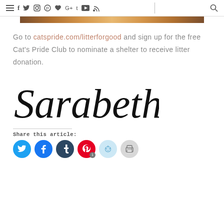Navigation bar with social/menu icons
[Figure (photo): Brown wooden surface image strip]
Go to catspride.com/litterforgood and sign up for the free Cat's Pride Club to nominate a shelter to receive litter donation.
[Figure (illustration): Cursive handwritten signature reading 'Sarabeth']
Share this article:
[Figure (infographic): Row of social share buttons: Twitter, Facebook, Tumblr, Pinterest (with badge 1), Reddit, Print]